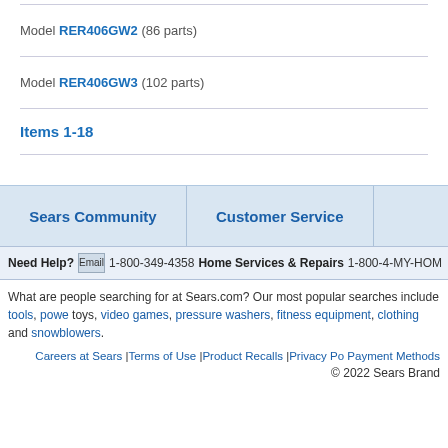Model RER406GW2 (86 parts)
Model RER406GW3 (102 parts)
Items 1-18
Sears Community
Customer Service
Need Help? Email 1-800-349-4358 Home Services & Repairs 1-800-4-MY-HOM
What are people searching for at Sears.com? Our most popular searches include tools, power toys, video games, pressure washers, fitness equipment, clothing and snowblowers.
Careers at Sears |Terms of Use |Product Recalls |Privacy Po... Payment Methods
© 2022 Sears Brand